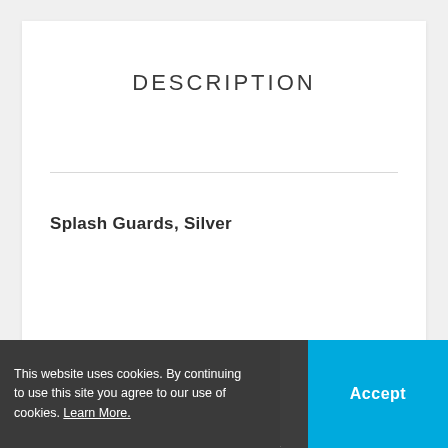DESCRIPTION
Splash Guards, Silver
A lot of the water and dirt that is splashed up by the front wh… t. The …ach foot protector ve… effectively channels the water away
This website uses cookies. By continuing to use this site you agree to our use of cookies. Learn More.
Accept